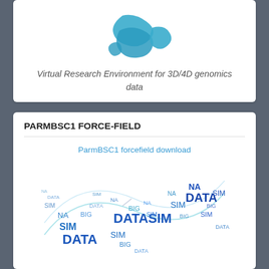[Figure (logo): Blue ribbon/helix shaped logo for a Virtual Research Environment platform for 3D/4D genomics data]
Virtual Research Environment for 3D/4D genomics data
PARMBSC1 FORCE-FIELD
ParmBSC1 forcefield download
[Figure (illustration): Word cloud / illustration shaped like a DNA double helix, composed of words: DATA, NA, SIM, BIG, DATASIM, in various shades of blue]